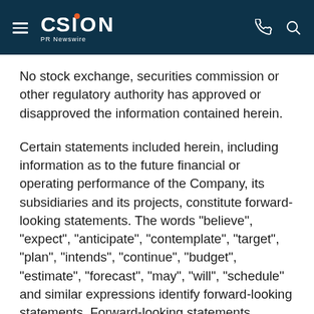CISION PR Newswire
No stock exchange, securities commission or other regulatory authority has approved or disapproved the information contained herein.
Certain statements included herein, including information as to the future financial or operating performance of the Company, its subsidiaries and its projects, constitute forward-looking statements. The words "believe", "expect", "anticipate", "contemplate", "target", "plan", "intends", "continue", "budget", "estimate", "forecast", "may", "will", "schedule" and similar expressions identify forward-looking statements. Forward-looking statements include, among other things, future exploration results of its